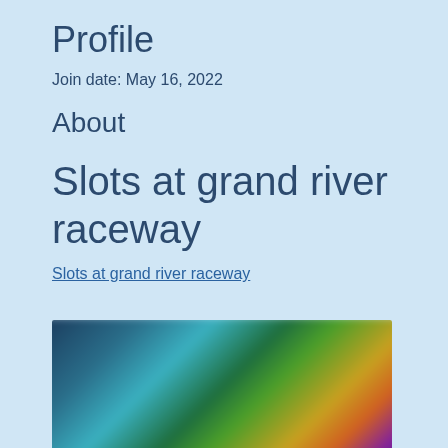Profile
Join date: May 16, 2022
About
Slots at grand river raceway
Slots at grand river raceway
[Figure (photo): Blurred screenshot of a slot machine or casino game interface with colorful characters and background]